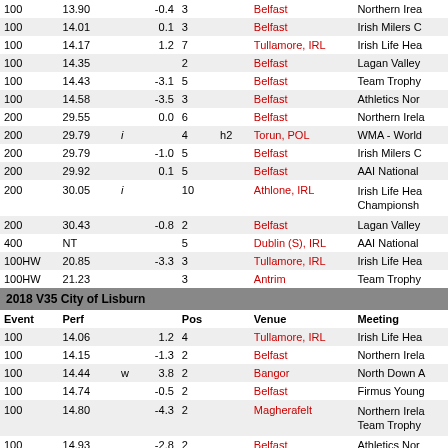| Event | Perf |  |  | Pos |  | Venue | Meeting |
| --- | --- | --- | --- | --- | --- | --- | --- |
| 100 | 13.90 | -0.4 |  | 3 |  | Belfast | Northern Ire... |
| 100 | 14.01 | 0.1 |  | 3 |  | Belfast | Irish Milers C... |
| 100 | 14.17 | 1.2 |  | 7 |  | Tullamore, IRL | Irish Life Hea... |
| 100 | 14.35 |  |  | 2 |  | Belfast | Lagan Valley... |
| 100 | 14.43 | -3.1 |  | 5 |  | Belfast | Team Trophy... |
| 100 | 14.58 | -3.5 |  | 3 |  | Belfast | Athletics Nor... |
| 200 | 29.55 | 0.0 |  | 6 |  | Belfast | Northern Irela... |
| 200 | 29.79 | i |  | 4 | h2 | Torun, POL | WMA - World... |
| 200 | 29.79 | -1.0 |  | 5 |  | Belfast | Irish Milers C... |
| 200 | 29.92 | 0.1 |  | 5 |  | Belfast | AAI National... |
| 200 | 30.05 | i |  | 10 |  | Athlone, IRL | Irish Life Hea... Championship... |
| 200 | 30.43 | -0.8 |  | 2 |  | Belfast | Lagan Valley... |
| 400 | NT |  |  | 5 |  | Dublin (S), IRL | AAI National... |
| 100HW | 20.85 | -3.3 |  | 3 |  | Tullamore, IRL | Irish Life Hea... |
| 100HW | 21.23 |  |  | 3 |  | Antrim | Team Trophy... |
2018 V35 City of Lisburn
| Event | Perf |  |  | Pos |  | Venue | Meeting |
| --- | --- | --- | --- | --- | --- | --- | --- |
| 100 | 14.06 | 1.2 |  | 4 |  | Tullamore, IRL | Irish Life Hea... |
| 100 | 14.15 | -1.3 |  | 2 |  | Belfast | Northern Irela... |
| 100 | 14.44 | w 3.8 |  | 2 |  | Bangor | North Down A... |
| 100 | 14.74 | -0.5 |  | 2 |  | Belfast | Firmus Young... |
| 100 | 14.80 | -4.3 |  | 2 |  | Magherafelt | Northern Irela... Team Trophy... |
| 100 | 14.93 | -2.8 |  | 2 |  | Belfast | Athletics Nor... |
| 100 | 15.0 |  |  | 6 |  | Belfast | Firmus Young... |